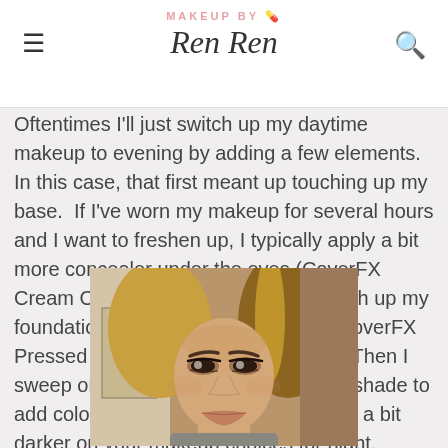MAKEUP BY Ren Ren
Oftentimes I'll just switch up my daytime makeup to evening by adding a few elements.  In this case, that first meant up touching up my base.  If I've worn my makeup for several hours and I want to freshen up, I typically apply a bit more concealer under the eyes (CoverFX Cream Concealer in Medium) and touch up my foundation using a pressed powder (CoverFX Pressed Mineral Foundation in G70).  Then I sweep on a bit more blush in a darker shade to add color back to my face.  You can go a bit darker on your makeup choices for night.
[Figure (photo): Photo of a young Asian woman with highlighted hair, wearing evening makeup including smoky eyes and defined brows, facing the camera directly.]